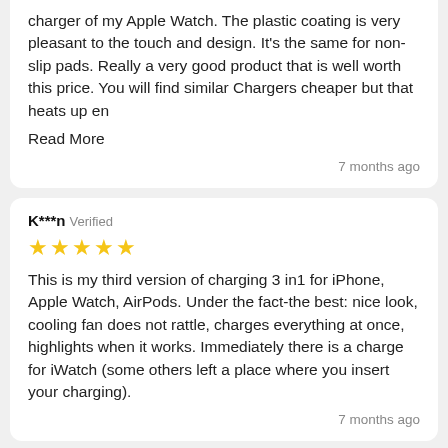charger of my Apple Watch. The plastic coating is very pleasant to the touch and design. It's the same for non-slip pads. Really a very good product that is well worth this price. You will find similar Chargers cheaper but that heats up en
Read More
7 months ago
K***n Verified
[Figure (other): Five gold star rating icons]
This is my third version of charging 3 in1 for iPhone, Apple Watch, AirPods. Under the fact-the best: nice look, cooling fan does not rattle, charges everything at once, highlights when it works. Immediately there is a charge for iWatch (some others left a place where you insert your charging).
7 months ago